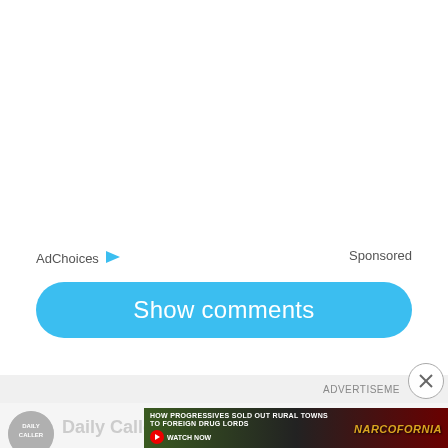AdChoices  Sponsored
Show comments
ADVERTISEMENT
[Figure (screenshot): Daily Caller logo and partial article thumbnails at bottom of page]
[Figure (photo): Narcofornia advertisement banner: HOW PROGRESSIVES SOLD OUT RURAL TOWNS TO FOREIGN DRUG LORDS - WATCH NOW button with cannabis leaf background]